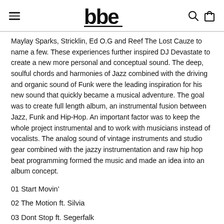bbe logo with hamburger menu, search and bag icons
Maylay Sparks, Stricklin, Ed O.G and Reef The Lost Cauze to name a few. These experiences further inspired DJ Devastate to create a new more personal and conceptual sound. The deep, soulful chords and harmonies of Jazz combined with the driving and organic sound of Funk were the leading inspiration for his new sound that quickly became a musical adventure. The goal was to create full length album, an instrumental fusion between Jazz, Funk and Hip-Hop. An important factor was to keep the whole project instrumental and to work with musicians instead of vocalists. The analog sound of vintage instruments and studio gear combined with the jazzy instrumentation and raw hip hop beat programming formed the music and made an idea into an album concept.
01 Start Movin'
02 The Motion ft. Silvia
03 Dont Stop ft. Segerfalk